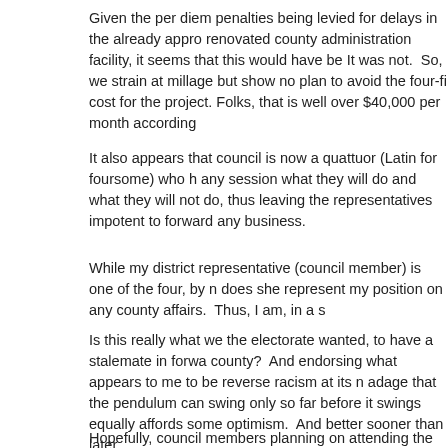Given the per diem penalties being levied for delays in the already appro renovated county administration facility, it seems that this would have be It was not.  So, we strain at millage but show no plan to avoid the four-fi cost for the project. Folks, that is well over $40,000 per month according
It also appears that council is now a quattuor (Latin for foursome) who h any session what they will do and what they will not do, thus leaving the representatives impotent to forward any business.
While my district representative (council member) is one of the four, by n does she represent my position on any county affairs.  Thus, I am, in a s
Is this really what we the electorate wanted, to have a stalemate in forwa county?  And endorsing what appears to me to be reverse racism at its n adage that the pendulum can swing only so far before it swings equally affords some optimism.  And better sooner than later.
Hopefully, council members planning on attending the Hilton Head traini much about council objectives and protocols.
Paul Dove